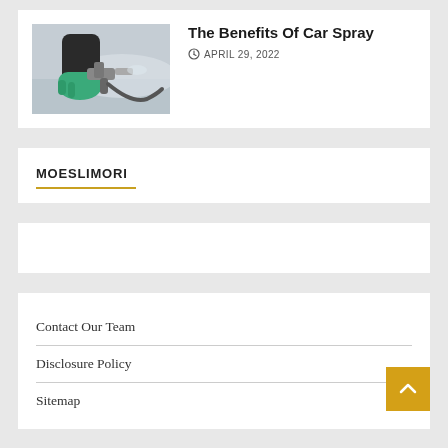[Figure (photo): Person wearing green gloves using a car spray paint gun on a white car]
The Benefits Of Car Spray
APRIL 29, 2022
MOESLIMORI
Contact Our Team
Disclosure Policy
Sitemap